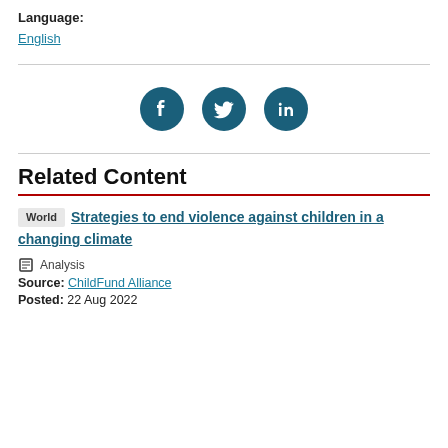Language:
English
[Figure (infographic): Three social media sharing icons (Facebook, Twitter, LinkedIn) as white icons on dark teal circular backgrounds, arranged horizontally in a row.]
Related Content
World  Strategies to end violence against children in a changing climate
Analysis
Source: ChildFund Alliance
Posted: 22 Aug 2022